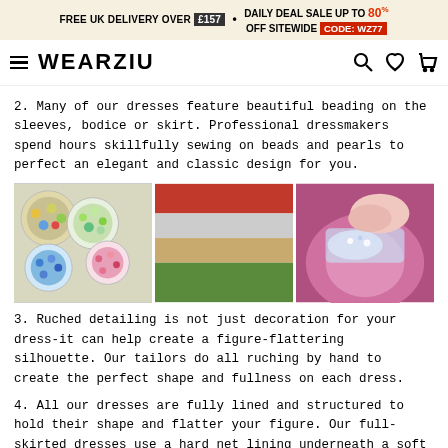FREE UK DELIVERY OVER £157 • DAILY DEAL SALE UP TO 80% OFF SITEWIDE CODE: WZ77
WEARZIU
2. Many of our dresses feature beautiful beading on the sleeves, bodice or skirt. Professional dressmakers spend hours skillfully sewing on beads and pearls to perfect an elegant and classic design for you.
[Figure (photo): Three photos side by side: colorful beads in containers, rolls of fabric in various colors, and hands sewing beads onto a pink dress]
3. Ruched detailing is not just decoration for your dress-it can help create a figure-flattering silhouette. Our tailors do all ruching by hand to create the perfect shape and fullness on each dress.
4. All our dresses are fully lined and structured to hold their shape and flatter your figure. Our full-skirted dresses use a hard net lining underneath a soft fabric that feels comfortable against the skin.